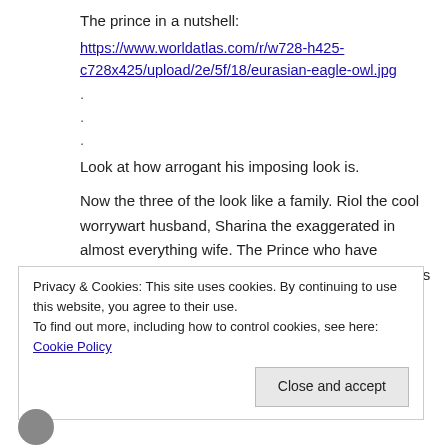The prince in a nutshell:
https://www.worldatlas.com/r/w728-h425-c728x425/upload/2e/5f/18/eurasian-eagle-owl.jpg
.
.
.
Look at how arrogant his imposing look is.
Now the three of the look like a family. Riol the cool worrywart husband, Sharina the exaggerated in almost everything wife. The Prince who have oedipus complex and annoying that even his parents don't like him....
Privacy & Cookies: This site uses cookies. By continuing to use this website, you agree to their use.
To find out more, including how to control cookies, see here: Cookie Policy
Close and accept